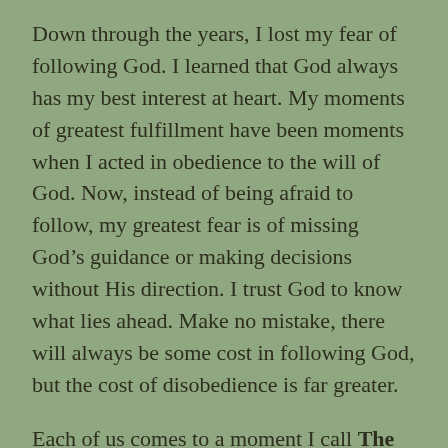Down through the years, I lost my fear of following God. I learned that God always has my best interest at heart. My moments of greatest fulfillment have been moments when I acted in obedience to the will of God. Now, instead of being afraid to follow, my greatest fear is of missing God’s guidance or making decisions without His direction. I trust God to know what lies ahead. Make no mistake, there will always be some cost in following God, but the cost of disobedience is far greater.
Each of us comes to a moment I call The Crisis of Decision. You will inevitably come to a crossroad in your life when you will have to choose which way to go. You may be choosing